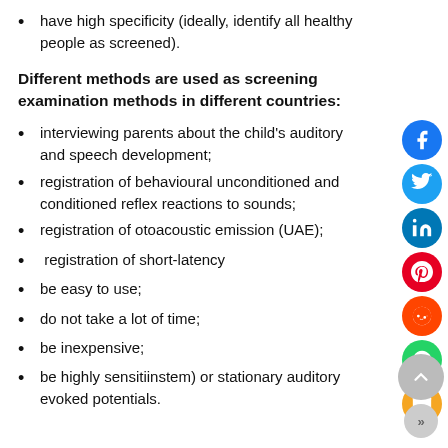have high specificity (ideally, identify all healthy people as screened).
Different methods are used as screening examination methods in different countries:
interviewing parents about the child's auditory and speech development;
registration of behavioural unconditioned and conditioned reflex reactions to sounds;
registration of otoacoustic emission (UAE);
registration of short-latency
be easy to use;
do not take a lot of time;
be inexpensive;
be highly sensitiinstem) or stationary auditory evoked potentials.